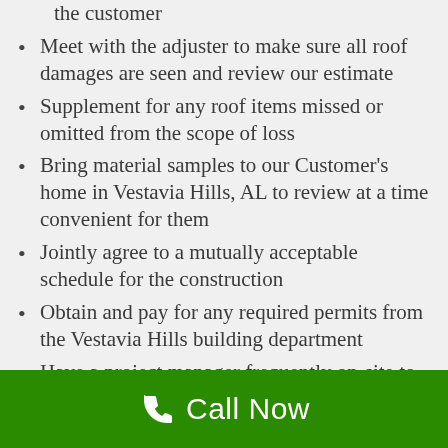the customer
Meet with the adjuster to make sure all roof damages are seen and review our estimate
Supplement for any roof items missed or omitted from the scope of loss
Bring material samples to our Customer's home in Vestavia Hills, AL to review at a time convenient for them
Jointly agree to a mutually acceptable schedule for the construction
Obtain and pay for any required permits from the Vestavia Hills building department
Have a project manager frequently on-site to make sure the work is being completed to specification
Call Now